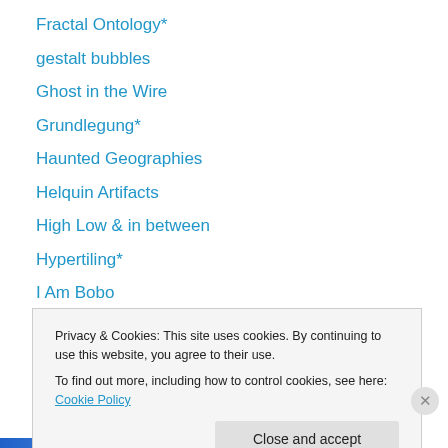Fractal Ontology*
gestalt bubbles
Ghost in the Wire
Grundlegung*
Haunted Geographies
Helquin Artifacts
High Low & in between
Hypertiling*
I Am Bobo
I Am Emale
I Cite
I of the Text
Ian Bogost*
Privacy & Cookies: This site uses cookies. By continuing to use this website, you agree to their use. To find out more, including how to control cookies, see here: Cookie Policy
Close and accept